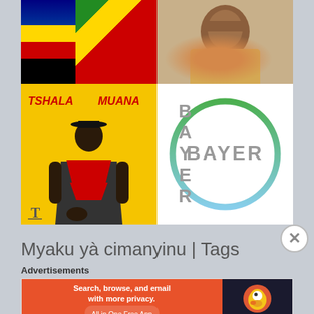[Figure (photo): Grid of four images: top-left is a colorful flag (appears to be Democratic Republic of Congo or similar), top-right is a woman in colorful African print clothing, bottom-left is a Tshala Muana album cover with yellow background and red text, bottom-right is the Bayer pharmaceutical/chemical company logo (cross pattern in grey letters with green-to-blue circular border)]
Myaku yà cimanyinu | Tags
Advertisements
[Figure (screenshot): DuckDuckGo advertisement banner: orange left panel reads 'Search, browse, and email with more privacy. All in One Free App' and dark right panel shows DuckDuckGo duck logo]